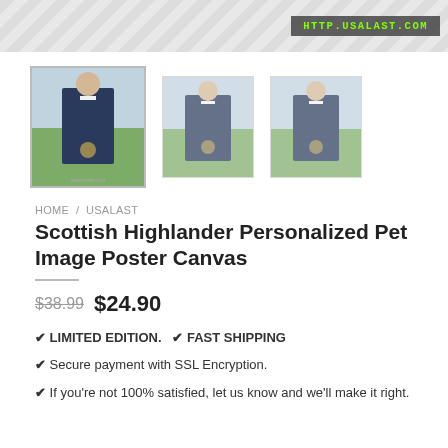[Figure (screenshot): E-commerce product page header with diagonal stripe pattern background and green text badge reading HTTP.USALAST.COM]
[Figure (photo): Three thumbnail images of a Scottish Highlander personalized pet canvas print showing a dog in a suit standing in a field]
HOME / USALAST
Scottish Highlander Personalized Pet Image Poster Canvas
$38.99  $24.90
✔ LIMITED EDITION. ✔ FAST SHIPPING
✔ Secure payment with SSL Encryption.
✔ If you're not 100% satisfied, let us know and we'll make it right.